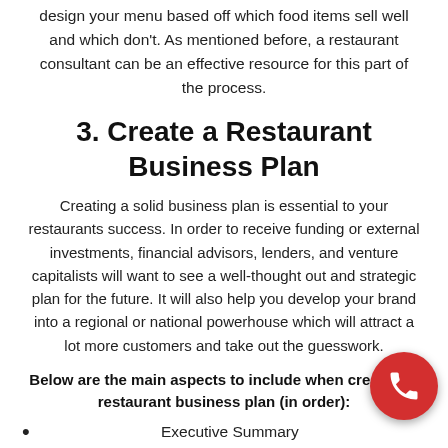design your menu based off which food items sell well and which don't. As mentioned before, a restaurant consultant can be an effective resource for this part of the process.
3. Create a Restaurant Business Plan
Creating a solid business plan is essential to your restaurants success. In order to receive funding or external investments, financial advisors, lenders, and venture capitalists will want to see a well-thought out and strategic plan for the future. It will also help you develop your brand into a regional or national powerhouse which will attract a lot more customers and take out the guesswork.
Below are the main aspects to include when creating a restaurant business plan (in order):
Executive Summary